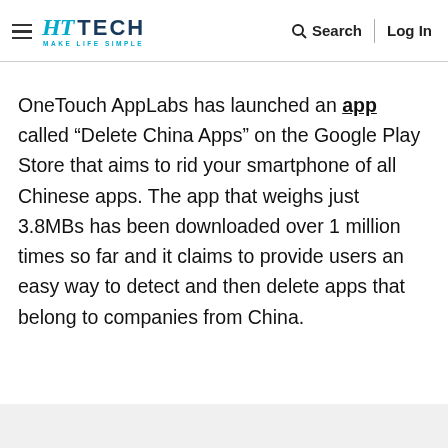HT TECH MAKE LIFE SIMPLE | Search | Log In
OneTouch AppLabs has launched an app called “Delete China Apps” on the Google Play Store that aims to rid your smartphone of all Chinese apps. The app that weighs just 3.8MBs has been downloaded over 1 million times so far and it claims to provide users an easy way to detect and then delete apps that belong to companies from China.